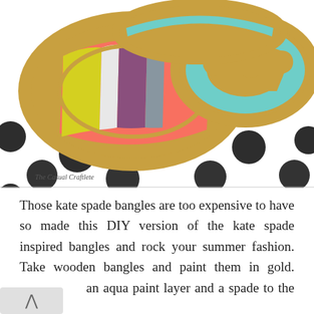[Figure (photo): Photo of colorful gold bangles inspired by kate spade design, displayed on a white polka dot background. Two bangles: one with multicolored stripes (yellow, white, purple, grey, pink, coral) and one aqua/turquoise colored with a spade cutout. Watermark reads 'The Casual Craftlete'.]
Those kate spade bangles are too expensive to have so made this DIY version of the kate spade inspired bangles and rock your summer fashion. Take wooden bangles and paint them in gold. an aqua paint layer and a spade to the first